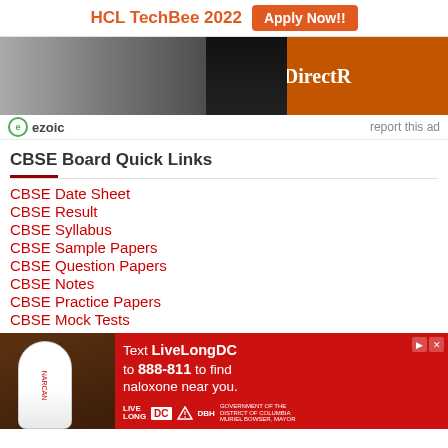HCL TechBee 2022  Apply Now!!
[Figure (photo): Advertisement banner showing DirectR brand with dark background and orange branding]
ezoic  report this ad
CBSE Board Quick Links
CBSE Date Sheet
CBSE Result
CBSE Syllabus
CBSE Sample Papers
CBSE Question Papers
CBSE Notes
CBSE Practice Papers
CBSE Mock Tests
[Figure (photo): Red advertisement banner: Text LiveLongDC to 888-811 to find naloxone near you. Shows nasal spray and LiveLong DC / DBH logos.]